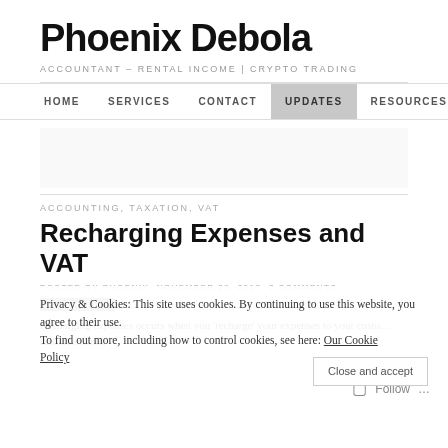Phoenix Debola
ACCOUNTANT – RENTAL INCOME | CRYPTO TRADING
HOME | SERVICES | CONTACT | UPDATES | RESOURCES | RENTAL ACCOUNT
ACCOUNTING, TAXATION, VAT
Recharging Expenses and VAT
POSTED BY PHOENIX  NOVEMBER 29, 2017  2 COMMENTS
FILED UNDER  DISBURSEMENTS, RECHARGES, RECHARGING, VAT
Recharging expenses occurs when you 'recharge' your expenses to your custo… disbursements.
Privacy & Cookies: This site uses cookies. By continuing to use this website, you agree to their use. To find out more, including how to control cookies, see here: Our Cookie Policy
Close and accept
Follow